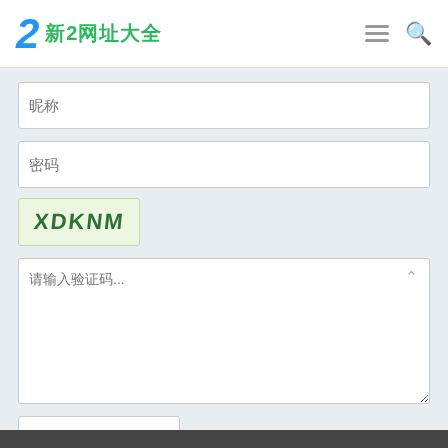新2网址大全
昵称
密码
[Figure (other): CAPTCHA image showing handwritten text 'XDKNM' on light green background]
请输入验证码...
提交